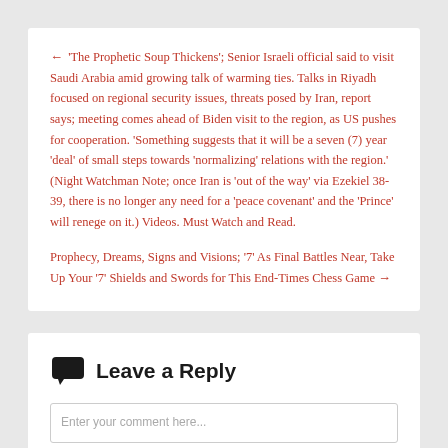← 'The Prophetic Soup Thickens'; Senior Israeli official said to visit Saudi Arabia amid growing talk of warming ties. Talks in Riyadh focused on regional security issues, threats posed by Iran, report says; meeting comes ahead of Biden visit to the region, as US pushes for cooperation. 'Something suggests that it will be a seven (7) year 'deal' of small steps towards 'normalizing' relations with the region.' (Night Watchman Note; once Iran is 'out of the way' via Ezekiel 38-39, there is no longer any need for a 'peace covenant' and the 'Prince' will renege on it.) Videos. Must Watch and Read.
Prophecy, Dreams, Signs and Visions; '7' As Final Battles Near, Take Up Your '7' Shields and Swords for This End-Times Chess Game →
Leave a Reply